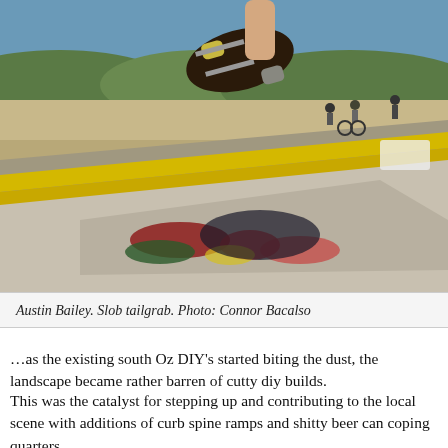[Figure (photo): Skateboarder Austin Bailey performing a slob tailgrab trick at an outdoor DIY skate park. The photo shows a graffiti-painted concrete ramp with yellow painted edges in the foreground, the skater's hands gripping the board from below, and other skaters in the background on a dusty outdoor terrain under a blue sky.]
Austin Bailey. Slob tailgrab.  Photo: Connor Bacalso
…as the existing south Oz DIY's started biting the dust, the landscape became rather barren of cutty diy builds.
This was the catalyst for stepping up and contributing to the local scene with additions of curb spine ramps and shitty beer can coping quarters.